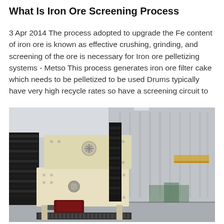What Is Iron Ore Screening Process
3 Apr 2014 The process adopted to upgrade the Fe content of iron ore is known as effective crushing, grinding, and screening of the ore is necessary for Iron ore pelletizing systems - Metso This process generates iron ore filter cake which needs to be pelletized to be used Drums typically have very high recycle rates so have a screening circuit to
[Figure (photo): Industrial iron ore screening equipment photographed inside a large warehouse/factory facility. The image shows large vibrating screen machines with layered decks in cream/beige color alongside stacked black screen panels. The machinery appears to be industrial-scale mineral processing equipment.]